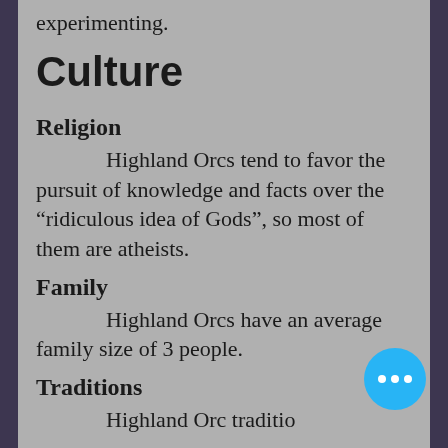experimenting.
Culture
Religion
Highland Orcs tend to favor the pursuit of knowledge and facts over the “riculous idea of Gods”, so most of them are atheists.
Family
Highland Orcs have an average family size of 3 people.
Traditions
Highland Orc traditio...
are mostly dependent upon the